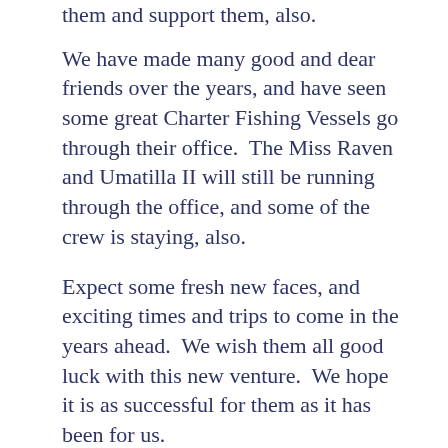them and support them, also.
We have made many good and dear friends over the years, and have seen some great Charter Fishing Vessels go through their office.  The Miss Raven and Umatilla II will still be running through the office, and some of the crew is staying, also.
Expect some fresh new faces, and exciting times and trips to come in the years ahead.  We wish them all good luck with this new venture.  We hope it is as successful for them as it has been for us.